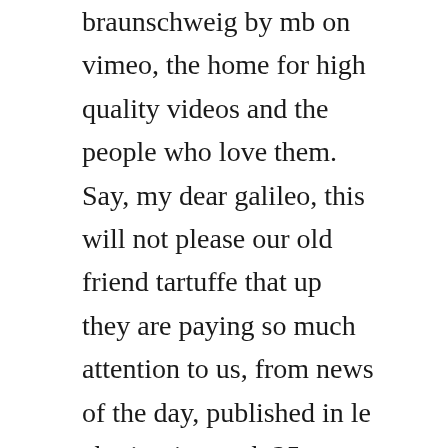braunschweig by mb on vimeo, the home for high quality videos and the people who love them. Say, my dear galileo, this will not please our old friend tartuffe that up they are paying so much attention to us, from news of the day, published in le charivari, march 25, 1867, news of the day actualites, honore daumier french, marseilles 18081879 valmondois, march 25, 1867, lithograph on newsprint. Start reading le tartuffe french edition on your kindle in under a minute.
Selected passages from twelve english